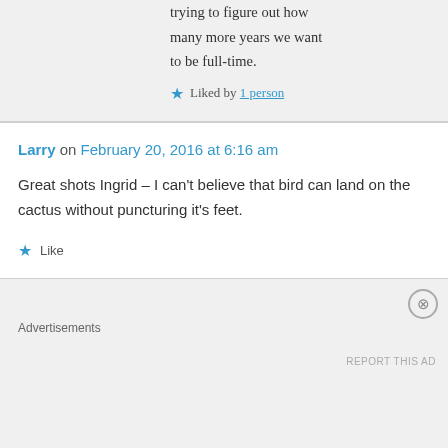trying to figure out how many more years we want to be full-time.
★ Liked by 1 person
Larry on February 20, 2016 at 6:16 am
Great shots Ingrid – I can't believe that bird can land on the cactus without puncturing it's feet.
★ Like
Advertisements